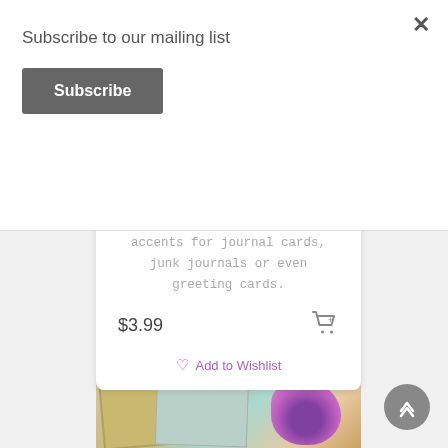Subscribe to our mailing list
Subscribe
this package. Perfect accents for journal cards, junk journals or even greeting cards.
$3.99
Add to Wishlist
[Figure (photo): Scrapbook-style product image showing journal cards with vintage paper textures, teal elements, and purple flowers]
×